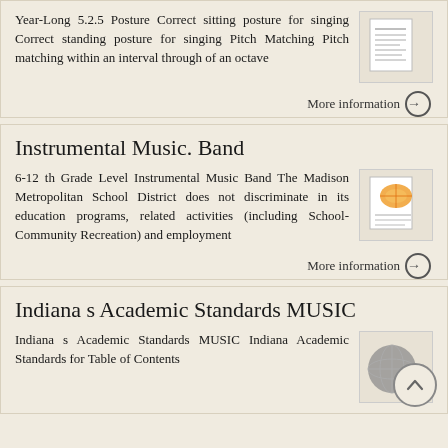Year-Long 5.2.5 Posture Correct sitting posture for singing Correct standing posture for singing Pitch Matching Pitch matching within an interval through of an octave
More information →
Instrumental Music. Band
6-12 th Grade Level Instrumental Music Band The Madison Metropolitan School District does not discriminate in its education programs, related activities (including School-Community Recreation) and employment
More information →
Indiana s Academic Standards MUSIC
Indiana s Academic Standards MUSIC Indiana Academic Standards for Table of Contents